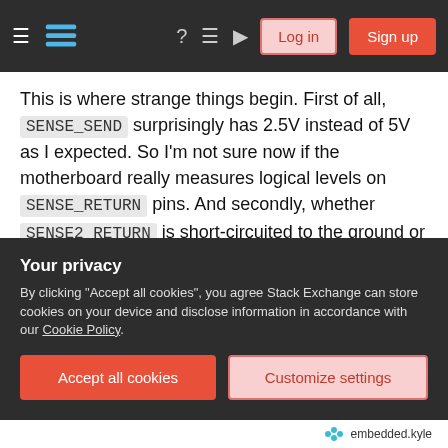Stack Exchange navigation bar with hamburger menu, logo, help, chat, search icons, Log in and Sign up buttons
This is where strange things begin. First of all, SENSE_SEND surprisingly has 2.5V instead of 5V as I expected. So I'm not sure now if the motherboard really measures logical levels on SENSE_RETURN pins. And secondly, whether SENSE2_RETURN is short-circuited to the ground or not doesn't seem to matter! PC detects that headphones are present no matter if I open or close the switch.
I suspect my initial assumption about logical levels is wrong. But then... how it might work inside? Any
Your privacy
By clicking "Accept all cookies", you agree Stack Exchange can store cookies on your device and disclose information in accordance with our Cookie Policy.
Accept all cookies   Customize settings
embedded.kyle